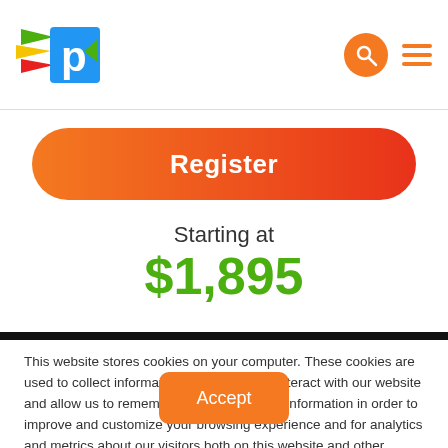[Figure (logo): Colorful winged logo with blue letter P]
[Figure (illustration): Orange search icon circle and orange hamburger menu icon]
Register
Starting at
$1,895
This website stores cookies on your computer. These cookies are used to collect information about how you interact with our website and allow us to remember you. We use this information in order to improve and customize your browsing experience and for analytics and metrics about our visitors both on this website and other media. To find out more about the cookies we use, see our Privacy Policy.
Accept